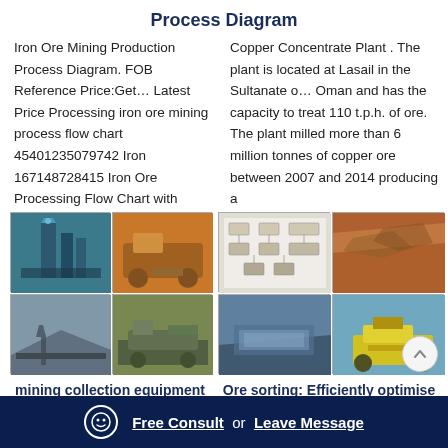Process Diagram
Iron Ore Mining Production Process Diagram. FOB Reference Price:Get… Latest Price Processing iron ore mining process flow chart 45401235079742 Iron 167148728415 Iron Ore Processing Flow Chart with
Copper Concentrate Plant . The plant is located at Lasail in the Sultanate o… Oman and has the capacity to treat 110 t.p.h. of ore. The plant milled more than 6 million tonnes of copper ore between 2007 and 2014 producing a
[Figure (photo): Four mining operation photos in a 2x2 grid: industrial plant with silos, orange mining crusher machine, conveyor belt with ore pile, large mobile mining equipment on field.]
[Figure (photo): Four copper processing photos in a 2x2 grid: copper process flow diagram schematic, aerial view of open pit mine, aerial view of processing pond/lagoon, yellow large mining vehicle.]
mining collection equipment
Ore sorting: Efficiently optimise the treatment of ores in ...
copper processing plant cheaper than iron ore; double deck mining gold
By using ore sorting equipment, ore concentrates can be created at very